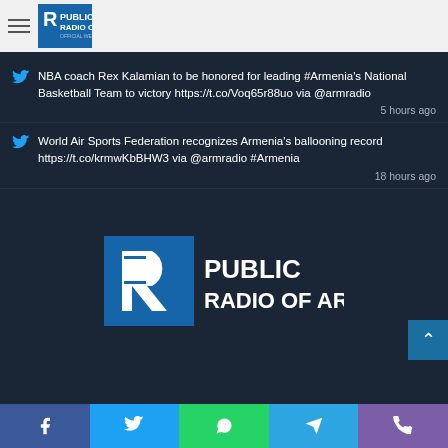Public Radio of Armenia - Official Website | www.armradio.am
NBA coach Rex Kalamian to be honored for leading #Armenia's National Basketball Team to victory https://t.co/Voq65r88uo via @armradio
5 hours ago
World Air Sports Federation recognizes Armenia's ballooning record https://t.co/krmwKbBHW3 via @armradio #Armenia
18 hours ago
[Figure (logo): Public Radio of Armenia logo - large version with blue square icon and white text]
Facebook | Twitter | WhatsApp | Telegram | Phone